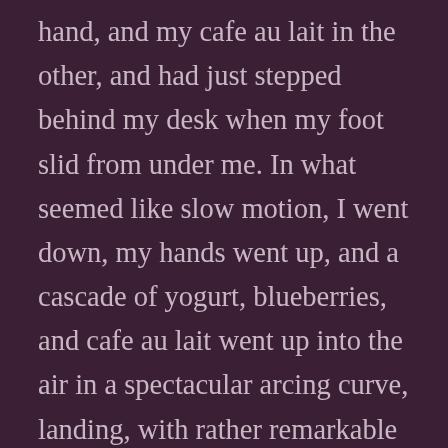hand, and my cafe au lait in the other, and had just stepped behind my desk when my foot slid from under me. In what seemed like slow motion, I went down, my hands went up, and a cascade of yogurt, blueberries, and cafe au lait went up into the air in a spectacular arcing curve, landing, with rather remarkable accuracy, on my head. My Italian designer suit jacket sleeves were soaked through with coffee, my hair was clinging to my